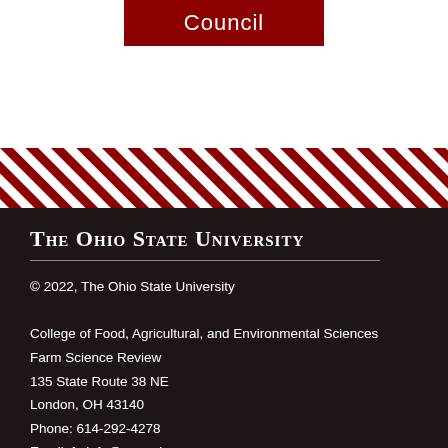[Figure (other): Red button/banner with text 'Council' on white background at top of page]
[Figure (other): Diagonal red and white stripe decorative band]
The Ohio State University
© 2022, The Ohio State University
College of Food, Agricultural, and Environmental Sciences
Farm Science Review
135 State Route 38 NE
London, OH 43140
Phone: 614-292-4278
Email: fsrinfo@osu.edu